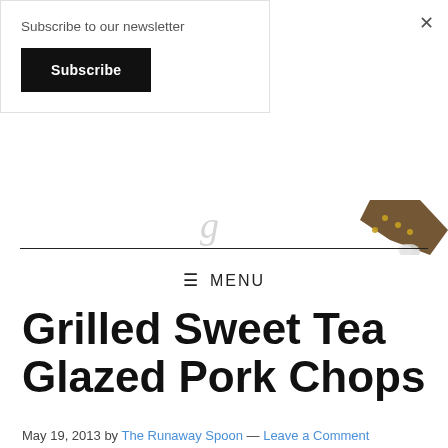Subscribe to our newsletter
Subscribe
[Figure (illustration): Partial logo image of The Runaway Spoon blog — script text and decorative spoon/illustration visible at top of page]
≡ MENU
Grilled Sweet Tea Glazed Pork Chops
May 19, 2013 by The Runaway Spoon — Leave a Comment